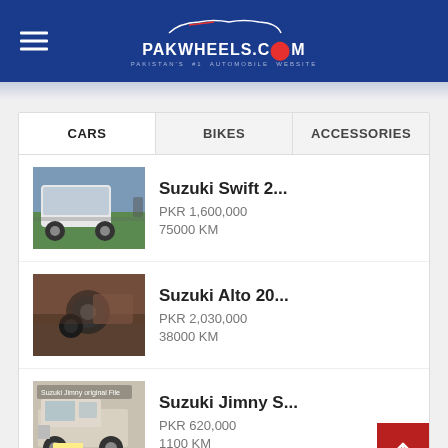PAKWHEELS.COM — Pakistan's #1 Automobile Website
CARS | BIKES | ACCESSORIES
[Figure (screenshot): Car listing thumbnail: white Suzuki Swift]
Suzuki Swift 2...
PKR 1,600,000
75000 KM
[Figure (screenshot): Car listing thumbnail: Suzuki Alto interior/exterior]
Suzuki Alto 20...
PKR 2,030,000
38000 KM
[Figure (screenshot): Car listing thumbnail: Suzuki Jimny off-road white vehicle]
Suzuki Jimny S...
PKR 620,000
1100 KM